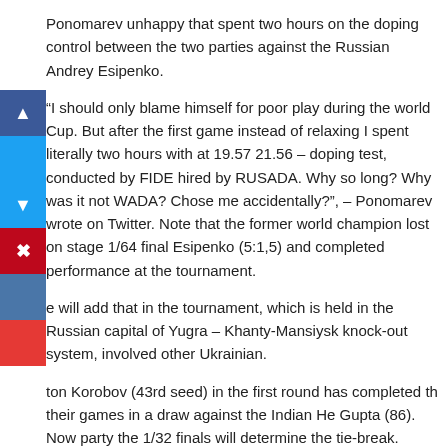Ponomarev unhappy that spent two hours on the doping control between the two parties against the Russian Andrey Esipenko.
“I should only blame himself for poor play during the world Cup. But after the first game instead of relaxing I spent literally two hours with at 19.57 21.56 – doping test, conducted by FIDE hired by RUSADA. Why so long? Why was it not WADA? Chose me accidentally?”, – Ponomarev wrote on Twitter. Note that the former world champion lost on stage 1/64 final Esipenko (5:1,5) and completed performance at the tournament.
e will add that in the tournament, which is held in the Russian capital of Yugra – Khanty-Mansiysk knock-out system, involved other Ukrainian.
ton Korobov (43rd seed) in the first round has completed th their games in a draw against the Indian He Gupta (86). Now party the 1/32 finals will determine the tie-break.
Recall that in 2002, Ponomariov at 18 became the youngest champion of the world (according to FIDE).